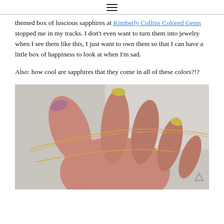≡
themed box of luscious sapphires at Kimberly Collins Colored Gems stopped me in my tracks. I don't even want to turn them into jewelry when I see them like this, I just want to own them so that I can have a little box of happiness to look at when I'm sad.
Also: how cool are sapphires that they come in all of these colors?!?
[Figure (photo): A hand holding a delicate gold chain necklace against a light grey background. The hand has nails painted in purple/yellow nail polish.]